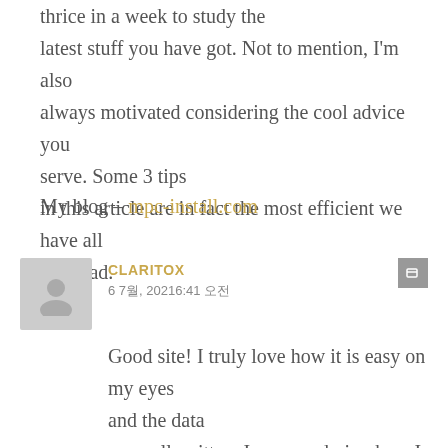thrice in a week to study the latest stuff you have got. Not to mention, I'm also always motivated considering the cool advice you serve. Some 3 tips in this article are in fact the most efficient we have all ever had.
My blog – mpc-install.com
CLARITOX
6 7월, 20216:41 오전
Good site! I truly love how it is easy on my eyes and the data are well written. I am wondering how I could be notified when a new post has been made.